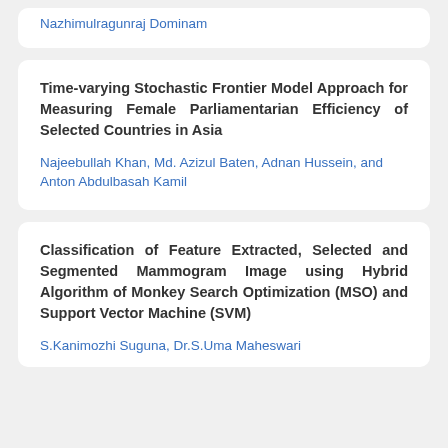Nazhimulragunraj Dominam
Time-varying Stochastic Frontier Model Approach for Measuring Female Parliamentarian Efficiency of Selected Countries in Asia
Najeebullah Khan, Md. Azizul Baten, Adnan Hussein, and Anton Abdulbasah Kamil
Classification of Feature Extracted, Selected and Segmented Mammogram Image using Hybrid Algorithm of Monkey Search Optimization (MSO) and Support Vector Machine (SVM)
S.Kanimozhi Suguna, Dr.S.Uma Maheswari